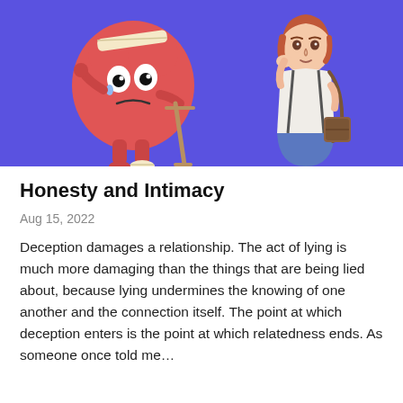[Figure (illustration): Cartoon illustration on a blue/purple background. On the left, an anthropomorphized red heart character with a bandage on its head, teary eye, and a bandaged foot using a crutch. On the right, a woman with short red hair, wearing a white top, blue skirt, and carrying a brown bag, looking concerned with her hand to her cheek.]
Honesty and Intimacy
Aug 15, 2022
Deception damages a relationship. The act of lying is much more damaging than the things that are being lied about, because lying undermines the knowing of one another and the connection itself. The point at which deception enters is the point at which relatedness ends. As someone once told me…